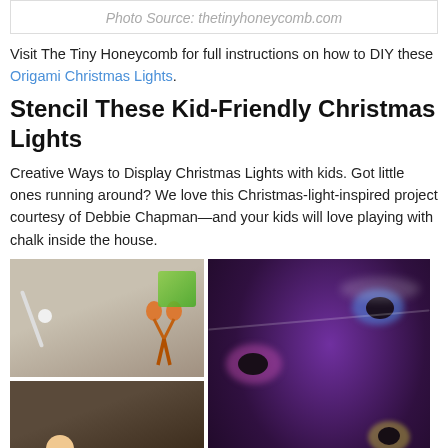Photo Source: thetinyhoneycomb.com
Visit The Tiny Honeycomb for full instructions on how to DIY these Origami Christmas Lights.
Stencil These Kid-Friendly Christmas Lights
Creative Ways to Display Christmas Lights with kids. Got little ones running around? We love this Christmas-light-inspired project courtesy of Debbie Chapman—and your kids will love playing with chalk inside the house.
[Figure (photo): Grid of four photos showing a stencil Christmas lights craft project: materials (scissors, pencil, eraser, chalk box on dark paper), a hand stenciling with chalk, and two images of completed colorful chalk Christmas light designs on dark paper.]